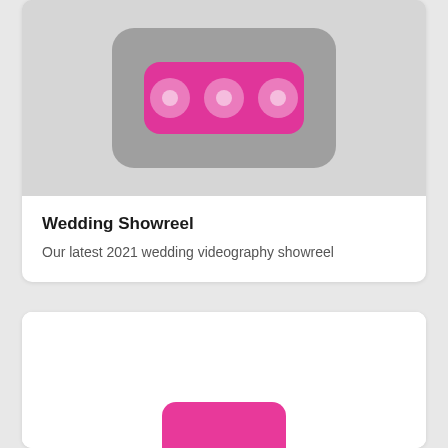[Figure (screenshot): YouTube-style video thumbnail placeholder with grey background and pink/magenta play button icon in center]
Wedding Showreel
Our latest 2021 wedding videography showreel
[Figure (screenshot): Second YouTube-style video thumbnail placeholder, partially visible at bottom of page, showing pink/magenta play button icon]